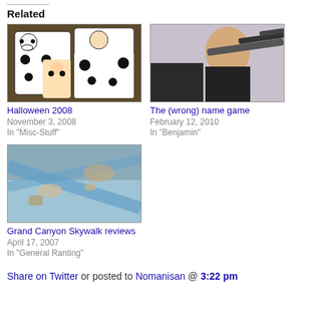Related
[Figure (photo): Photo of family in dalmatian Halloween costumes]
Halloween 2008
November 3, 2008
In "Misc-Stuff"
[Figure (photo): Photo of a person holding a gun, movie-style]
The (wrong) name game
February 12, 2010
In "Benjamin"
[Figure (photo): Photo of items on a glass surface, Grand Canyon Skywalk]
Grand Canyon Skywalk reviews
April 17, 2007
In "General Ranting"
Share on Twitter or posted to Nomanisan @ 3:22 pm